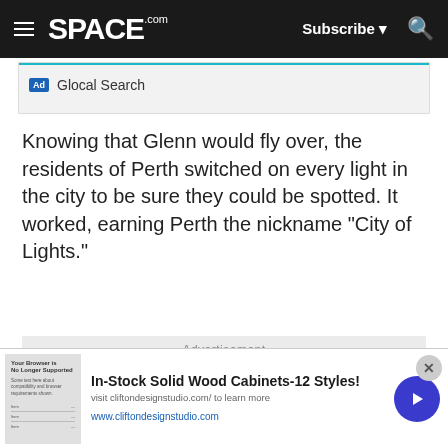SPACE.com — Subscribe (navigation bar)
[Figure (screenshot): Ad banner showing 'Ad | Glocal Search' with teal underline on light grey background]
Knowing that Glenn would fly over, the residents of Perth switched on every light in the city to be sure they could be spotted. It worked, earning Perth the nickname "City of Lights."
Advertisement
[Figure (screenshot): Ad creative: 'Tailored websites bring customers to your doorsteps.' in bold and purple text with marketing graphic below including 'TAKE' text]
[Figure (screenshot): Sticky bottom ad: In-Stock Solid Wood Cabinets-12 Styles! visit cliftondesignstudio.com/ to learn more — www.cliftondesignstudio.com]